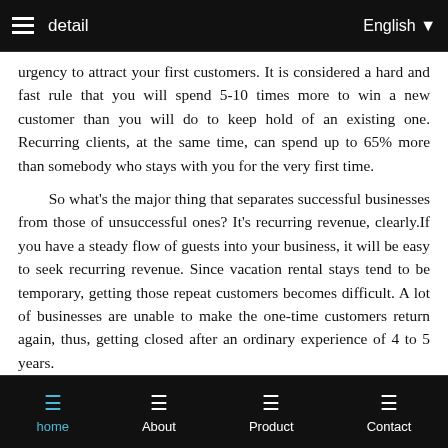detail    English
urgency to attract your first customers. It is considered a hard and fast rule that you will spend 5-10 times more to win a new customer than you will do to keep hold of an existing one. Recurring clients, at the same time, can spend up to 65% more than somebody who stays with you for the very first time.
So what's the major thing that separates successful businesses from those of unsuccessful ones? It's recurring revenue, clearly.If you have a steady flow of guests into your business, it will be easy to seek recurring revenue. Since vacation rental stays tend to be temporary, getting those repeat customers becomes difficult. A lot of businesses are unable to make the one-time customers return again, thus, getting closed after an ordinary experience of 4 to 5 years.
This is a very basic and important step that you get to know your guests. If you and your staff can build a by-name relationship with the customers, it will go a long way, even if they are one-time visitors. Remembering their first name will help create a rapport while showing your guests that you pay attention to every
home   About   Product   Contact